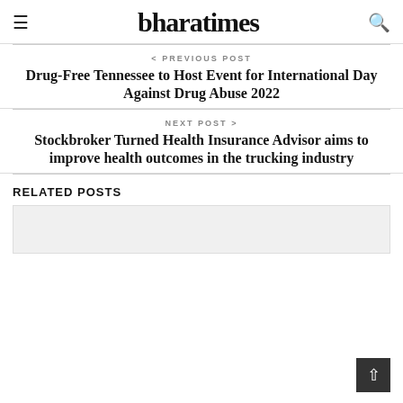bharatimes
< PREVIOUS POST
Drug-Free Tennessee to Host Event for International Day Against Drug Abuse 2022
NEXT POST >
Stockbroker Turned Health Insurance Advisor aims to improve health outcomes in the trucking industry
RELATED POSTS
[Figure (photo): Related post image placeholder]